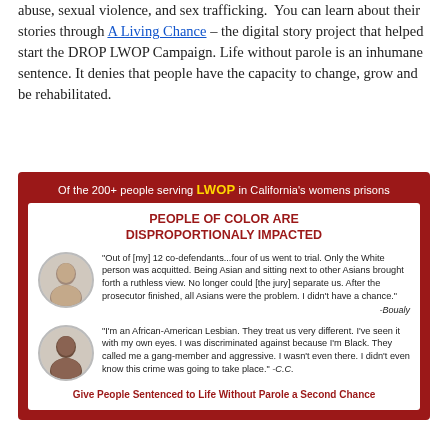abuse, sexual violence, and sex trafficking. You can learn about their stories through A Living Chance – the digital story project that helped start the DROP LWOP Campaign. Life without parole is an inhumane sentence. It denies that people have the capacity to change, grow and be rehabilitated.
[Figure (infographic): Infographic with dark red background stating 'Of the 200+ people serving LWOP in California's womens prisons' with inner white box titled 'PEOPLE OF COLOR ARE DISPROPORTIONALY IMPACTED'. Contains two portrait photos with quotes: one from Boualy about 12 co-defendants and racial bias at trial, one from C.C. about being an African-American Lesbian facing discrimination. Footer: 'Give People Sentenced to Life Without Parole a Second Chance'.]